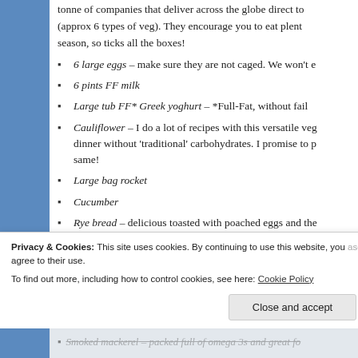tonne of companies that deliver across the globe direct to (approx 6 types of veg). They encourage you to eat plenty season, so ticks all the boxes!
6 large eggs – make sure they are not caged. We won't e
6 pints FF milk
Large tub FF* Greek yoghurt – *Full-Fat, without fail
Cauliflower – I do a lot of recipes with this versatile veg dinner without 'traditional' carbohydrates. I promise to p same!
Large bag rocket
Cucumber
Rye bread – delicious toasted with poached eggs and the much wheat makes me bloat)
Privacy & Cookies: This site uses cookies. By continuing to use this website, you agree to their use. To find out more, including how to control cookies, see here: Cookie Policy
Smoked mackerel – packed full of omega 3s and great fo